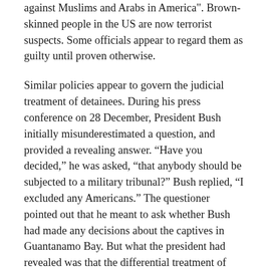against Muslims and Arabs in America". Brown-skinned people in the US are now terrorist suspects. Some officials appear to regard them as guilty until proven otherwise.
Similar policies appear to govern the judicial treatment of detainees. During his press conference on 28 December, President Bush initially misunderestimated a question, and provided a revealing answer. “Have you decided,” he was asked, “that anybody should be subjected to a military tribunal?” Bush replied, “I excluded any Americans.” The questioner pointed out that he meant to ask whether Bush had made any decisions about the captives in Guantanamo Bay. But what the president had revealed was that the differential treatment of those foreign fighters and John Walker Lindh, the “American Talib” currently being tried in a federal court in Virginia, is not an accident of process, but policy. He couldn’t treat a white American like the captives in Camp X-ray and expect to get away with it.